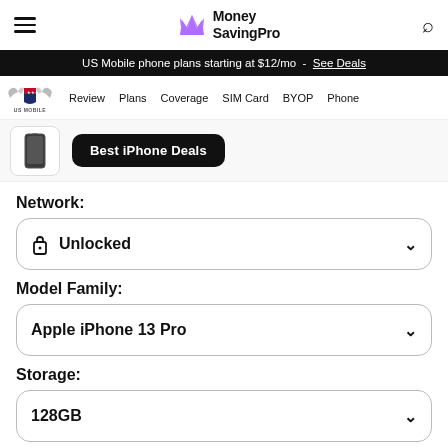Money SavingPro
US Mobile phone plans starting at $12/mo - See Deals
Review  Plans  Coverage  SIM Card  BYOP  Phone
[Figure (screenshot): iPhone 13 Pro product thumbnail and Best iPhone Deals button]
Network:
Unlocked
Model Family:
Apple iPhone 13 Pro
Storage:
128GB